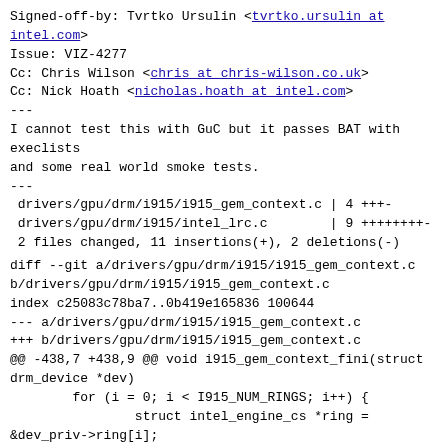Signed-off-by: Tvrtko Ursulin <tvrtko.ursulin at intel.com>
Issue: VIZ-4277
Cc: Chris Wilson <chris at chris-wilson.co.uk>
Cc: Nick Hoath <nicholas.hoath at intel.com>
---
I cannot test this with GuC but it passes BAT with execlists
and some real world smoke tests.
---
 drivers/gpu/drm/i915/i915_gem_context.c | 4 +++- 
 drivers/gpu/drm/i915/intel_lrc.c        | 9 ++++++++-
 2 files changed, 11 insertions(+), 2 deletions(-)
diff --git a/drivers/gpu/drm/i915/i915_gem_context.c b/drivers/gpu/drm/i915/i915_gem_context.c
index c25083c78ba7..0b419e165836 100644
--- a/drivers/gpu/drm/i915/i915_gem_context.c
+++ b/drivers/gpu/drm/i915/i915_gem_context.c
@@ -438,7 +438,9 @@ void i915_gem_context_fini(struct drm_device *dev)
        for (i = 0; i < I915_NUM_RINGS; i++) {
                struct intel_engine_cs *ring =
&dev_priv->ring[i];

-               if (ring->last_context)
+               if (ring->last_context &&
i915.enable_execlists)
+                       intel_lr_context_unpin(ring->last_context, ring);